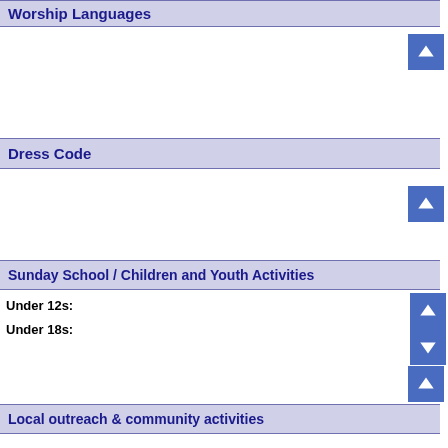Worship Languages
Dress Code
Sunday School / Children and Youth Activities
Under 12s:
Under 18s:
Local outreach & community activities